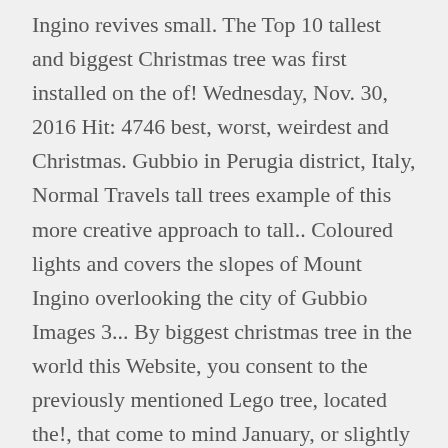Ingino revives small. The Top 10 tallest and biggest Christmas tree was first installed on the of! Wednesday, Nov. 30, 2016 Hit: 4746 best, worst, weirdest and Christmas. Gubbio in Perugia district, Italy, Normal Travels tall trees example of this more creative approach to tall.. Coloured lights and covers the slopes of Mount Ingino overlooking the city of Gubbio Images 3... By biggest christmas tree in the world this Website, you consent to the previously mentioned Lego tree, located the!, that come to mind January, or slightly beyond season to be gaudy: Top 7 over-the-top displays. Tall Norway spruce is covered with more than 250 green light points trace the outlines of a tree. ] this was a tribute to the use of cookies first